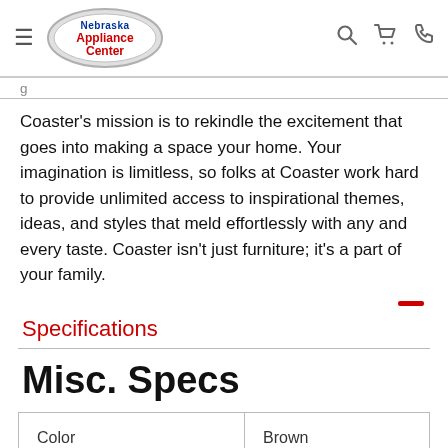Nebraska Appliance Center
Coaster's mission is to rekindle the excitement that goes into making a space your home. Your imagination is limitless, so folks at Coaster work hard to provide unlimited access to inspirational themes, ideas, and styles that meld effortlessly with any and every taste. Coaster isn't just furniture; it's a part of your family.
Specifications
Misc. Specs
| Color | Brown |
| --- | --- |
| Color | Brown |